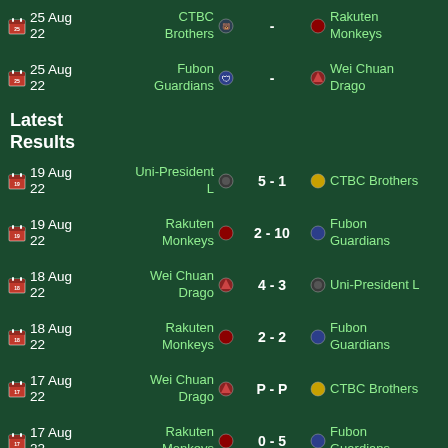25 Aug 22 | CTBC Brothers - Rakuten Monkeys
25 Aug 22 | Fubon Guardians - Wei Chuan Drago
Latest Results
19 Aug 22 | Uni-President L 5 - 1 CTBC Brothers
19 Aug 22 | Rakuten Monkeys 2 - 10 Fubon Guardians
18 Aug 22 | Wei Chuan Drago 4 - 3 Uni-President L
18 Aug 22 | Rakuten Monkeys 2 - 2 Fubon Guardians
17 Aug 22 | Wei Chuan Drago P - P CTBC Brothers
17 Aug 22 | Rakuten Monkeys 0 - 5 Fubon Guardians
16 Aug 22 | Wei Chuan ... CTBC Brothers